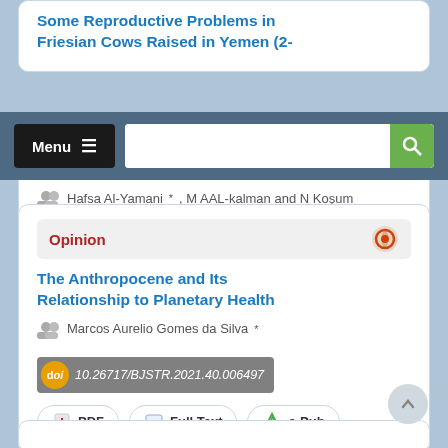Some Reproductive Problems in Friesian Cows Raised in Yemen (2-
Hafsa Al-Yamani*, M AAL-kalman and N Koşum
10.26717/BJSTR.2021.40.006498
PDF  Full Text  e-Pub
Opinion
The Anthropocene and Its Relationship to Planetary Health
Marcos Aurelio Gomes da Silva*
10.26717/BJSTR.2021.40.006497
PDF  Full Text  e-Pub